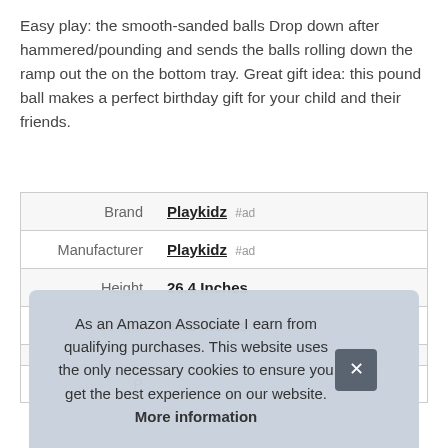Easy play: the smooth-sanded balls Drop down after hammered/pounding and sends the balls rolling down the ramp out the on the bottom tray. Great gift idea: this pound ball makes a perfect birthday gift for your child and their friends.
|  |  |
| --- | --- |
| Brand | Playkidz #ad |
| Manufacturer | Playkidz #ad |
| Height | 26.4 Inches |
| Length | 34.3 Inches |
| P |  |
As an Amazon Associate I earn from qualifying purchases. This website uses the only necessary cookies to ensure you get the best experience on our website. More information